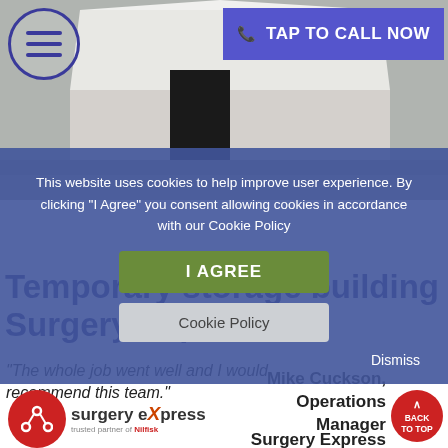[Figure (photo): Photograph of a large white temporary storage building/marquee structure outdoors on a concrete area, partially obscured by cookie consent overlay]
TAP TO CALL NOW
This website uses cookies to help improve user experience. By clicking "I Agree" you consent allowing cookies in accordance with our Cookie Policy
I AGREE
Cookie Policy
Dismiss
Temporary storage building Surgery Express
"The whole job went well and I would recommend this team."
[Figure (logo): Surgery Express logo with red circle share icon and orange X in the company name text]
Mike Cuckson, Operations Manager Surgery Express
BACK TO TOP